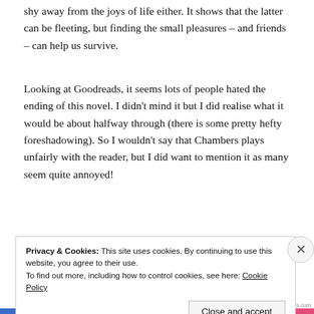shy away from the joys of life either. It shows that the latter can be fleeting, but finding the small pleasures – and friends – can help us survive.
Looking at Goodreads, it seems lots of people hated the ending of this novel. I didn't mind it but I did realise what it would be about halfway through (there is some pretty hefty foreshadowing). So I wouldn't say that Chambers plays unfairly with the reader, but I did want to mention it as many seem quite annoyed!
To end, despite my long-held love of terrible
Privacy & Cookies: This site uses cookies. By continuing to use this website, you agree to their use.
To find out more, including how to control cookies, see here: Cookie Policy
Close and accept